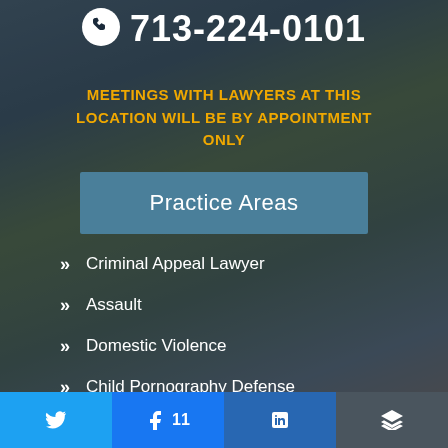713-224-0101
MEETINGS WITH LAWYERS AT THIS LOCATION WILL BE BY APPOINTMENT ONLY
Practice Areas
Criminal Appeal Lawyer
Assault
Domestic Violence
Child Pornography Defense
Drug Crimes Lawyer
Twitter | Facebook 11 | LinkedIn | Buffer